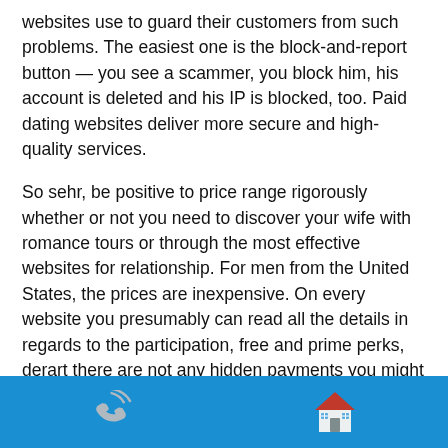websites use to guard their customers from such problems. The easiest one is the block-and-report button — you see a scammer, you block him, his account is deleted and his IP is blocked, too. Paid dating websites deliver more secure and high-quality services.
So sehr, be positive to price range rigorously whether or not you need to discover your wife with romance tours or through the most effective websites for relationship. For men from the United States, the prices are inexpensive. On every website you presumably can read all the details in regards to the participation, free and prime perks, derart there are not any hidden payments you might face. The major factor to bear in mind is that a sum depends on the a part of the planet you favor. A Chinese woman will be cheaper than visiting a woman in Nippon, however to begin
[phone icon] [house icon]